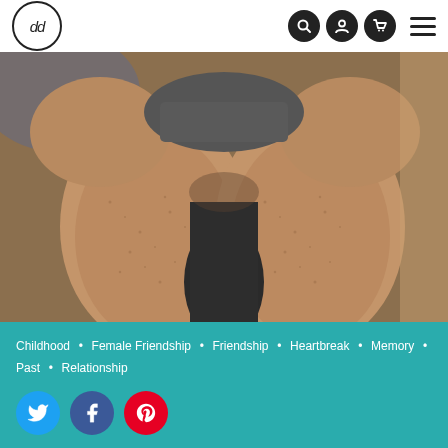[Figure (logo): dd logo in a circle]
[Figure (photo): Close-up photo of person's knees/legs from above, skin texture visible, dark clothing]
Childhood • Female Friendship • Friendship • Heartbreak • Memory • Past • Relationship
[Figure (infographic): Twitter, Facebook, and Pinterest social share buttons]